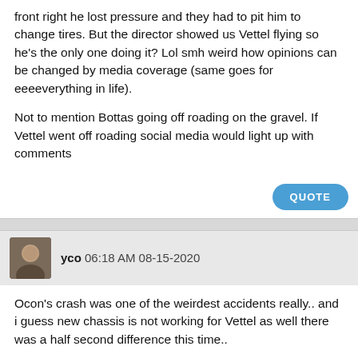front right he lost pressure and they had to pit him to change tires. But the director showed us Vettel flying so he's the only one doing it? Lol smh weird how opinions can be changed by media coverage (same goes for eeeeverything in life).
Not to mention Bottas going off roading on the gravel. If Vettel went off roading social media would light up with comments
QUOTE
yco 06:18 AM 08-15-2020
Ocon's crash was one of the weirdest accidents really.. and i guess new chassis is not working for Vettel as well there was a half second difference this time..
Quote: